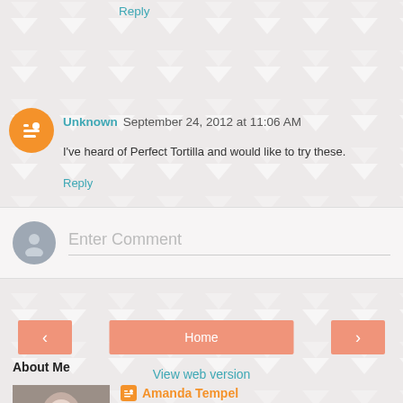Reply
Unknown  September 24, 2012 at 11:06 AM
I've heard of Perfect Tortilla and would like to try these.
Reply
[Figure (other): Enter Comment text box with user avatar placeholder]
[Figure (other): Navigation buttons: back arrow, Home, forward arrow, and View web version link]
About Me
Amanda Tempel
Bonita Springs, Florida, United States
Hi there! My name's Amanda. I'm 26, I have a 14